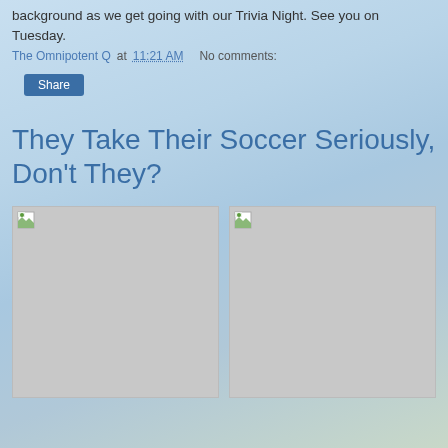background as we get going with our Trivia Night. See you on Tuesday.
The Omnipotent Q at 11:21 AM   No comments:
Share
They Take Their Soccer Seriously, Don't They?
[Figure (photo): Placeholder image (broken/loading) on left]
[Figure (photo): Placeholder image (broken/loading) on right]